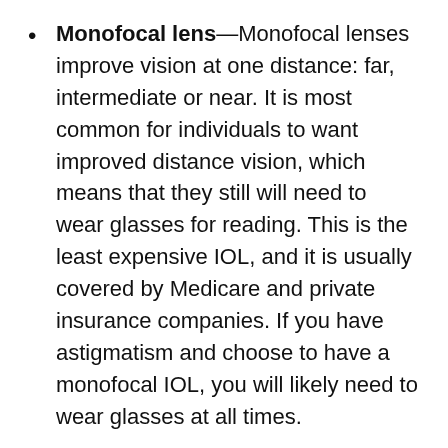Monofocal lens—Monofocal lenses improve vision at one distance: far, intermediate or near. It is most common for individuals to want improved distance vision, which means that they still will need to wear glasses for reading. This is the least expensive IOL, and it is usually covered by Medicare and private insurance companies. If you have astigmatism and choose to have a monofocal IOL, you will likely need to wear glasses at all times.
Astigmatism-correcting monofocal lens—Depending on the shape of your cornea, you may be a candidate for an astigmatism-correcting monofocal lens. This toric lens corrects astigmatism and cataracts in a single procedure. After surgery, you may still